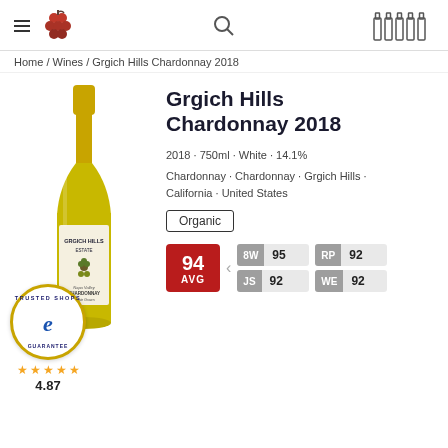Home / Wines / Grgich Hills Chardonnay 2018
[Figure (photo): Bottle of Grgich Hills Estate Napa Valley Chardonnay 2018 wine]
Grgich Hills Chardonnay 2018
2018 · 750ml · White · 14.1%
Chardonnay · Chardonnay · Grgich Hills · California · United States
Organic
| Score | Source | Value |
| --- | --- | --- |
| 94 AVG |  |  |
| 8W | 95 |  |
| RP | 92 |  |
| JS | 92 |  |
| WE | 92 |  |
[Figure (logo): Trusted Shops guarantee badge with e logo]
4.87